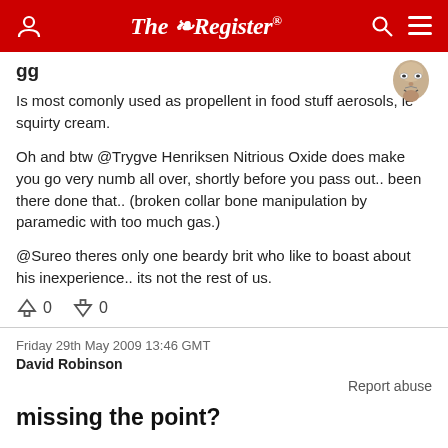The Register
Is most comonly used as propellent in food stuff aerosols, ie squirty cream.

Oh and btw @Trygve Henriksen Nitrious Oxide does make you go very numb all over, shortly before you pass out.. been there done that.. (broken collar bone manipulation by paramedic with too much gas.)

@Sureo theres only one beardy brit who like to boast about his inexperience.. its not the rest of us.
Friday 29th May 2009 13:46 GMT
David Robinson
Report abuse
missing the point?